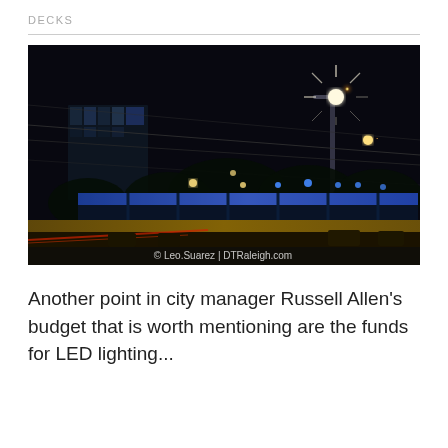DECKS
[Figure (photo): Night photo of a city parking deck with blue LED lighting along the facade, a street light in the foreground creating a starburst effect, tall building visible in background. Watermark reads: © Leo.Suarez | DTRaleigh.com]
Another point in city manager Russell Allen's budget that is worth mentioning are the funds for LED lighting...